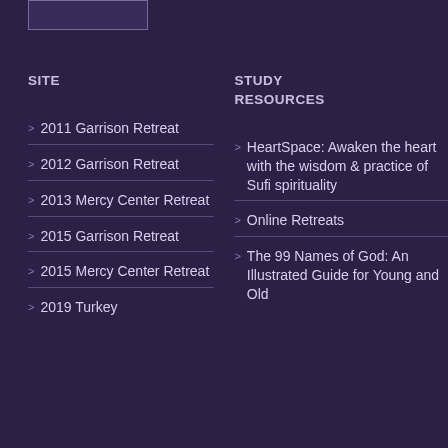[Figure (logo): Logo box at top left]
SITE
STUDY RESOURCES
2011 Garrison Retreat
2012 Garrison Retreat
2013 Mercy Center Retreat
2015 Garrison Retreat
2015 Mercy Center Retreat
2019 Turkey
HeartSpace: Awaken the heart with the wisdom & practice of Sufi spirituality
Online Retreats
The 99 Names of God: An Illustrated Guide for Young and Old